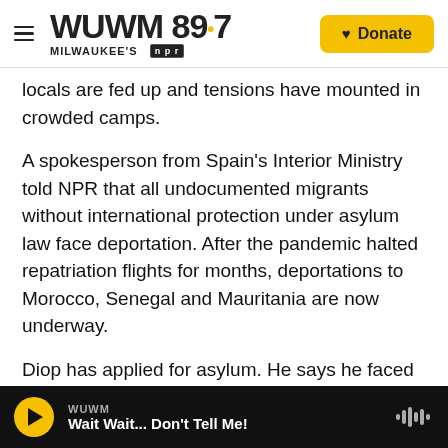WUWM 89.7 MILWAUKEE'S NPR | Donate
locals are fed up and tensions have mounted in crowded camps.
A spokesperson from Spain's Interior Ministry told NPR that all undocumented migrants without international protection under asylum law face deportation. After the pandemic halted repatriation flights for months, deportations to Morocco, Senegal and Mauritania are now underway.
Diop has applied for asylum. He says he faced arrest in Senegal for his involvement in a protest over fishing rights, during which he claims his boat
WUWM | Wait Wait... Don't Tell Me!